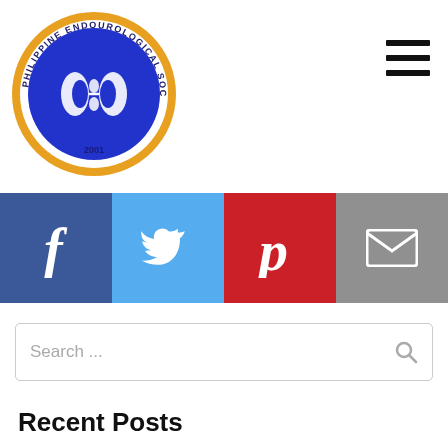[Figure (logo): Philippine Endourologial Society circular logo with blue center showing kidney/urological symbols, gold/orange border, text 'PHILIPPINE ENDOUROLOGICAL SOCIETY' around ring, '2001' at bottom]
[Figure (other): Hamburger menu icon (three horizontal lines) in top right corner]
[Figure (other): Social media sharing buttons row: Facebook (blue, f icon), Twitter (light blue, bird icon), Pinterest (red, P icon), Email (gray, envelope icon)]
[Figure (other): Search bar with placeholder text 'Search ...' and magnifying glass icon on right]
Recent Posts
Scientific experts support addition of “life-saving” prostate cancer early detection programmes
In Uncategorized